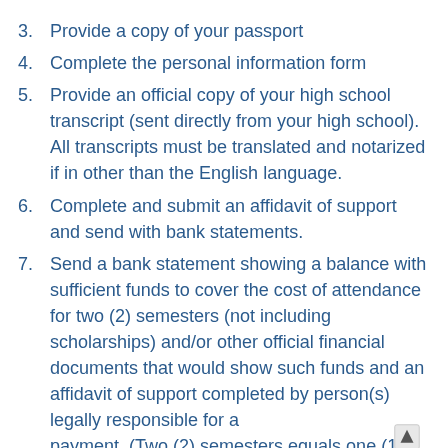3. Provide a copy of your passport
4. Complete the personal information form
5. Provide an official copy of your high school transcript (sent directly from your high school). All transcripts must be translated and notarized if in other than the English language.
6. Complete and submit an affidavit of support and send with bank statements.
7. Send a bank statement showing a balance with sufficient funds to cover the cost of attendance for two (2) semesters (not including scholarships) and/or other official financial documents that would show such funds and an affidavit of support completed by person(s) legally responsible for a payment. (Two (2) semesters equals one (1)